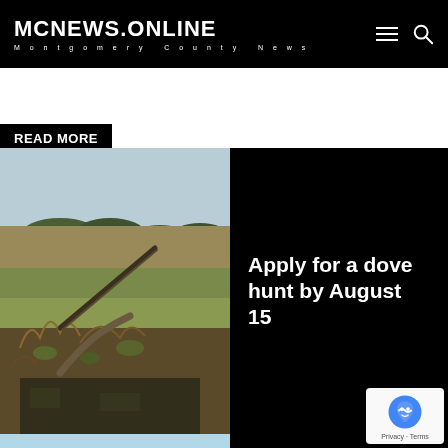MCNEWS.ONLINE — Montgomery County News
READ MORE
[Figure (photo): A hunter in camouflage lying in a field with dry vegetation, aiming a shotgun skyward. Open farmland and treeline visible in the background.]
Apply for a dove hunt by August 15
[Figure (photo): Partial view of a bottom article teaser with blue water/lake image on the left and black panel on the right.]